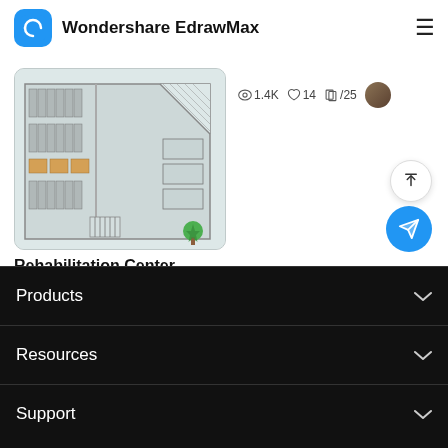Wondershare EdrawMax
[Figure (engineering-diagram): Rehabilitation Center Floor Plan diagram showing a building layout with parking rows, rooms, corridors, and a small tree icon in the bottom right corner.]
🔍 1.4K  ♡ 14  🗂 /25  [avatar]
Rehabilitation Center Floor Plan
🔍 407  ♡ 2  🗂 9  [avatar]
Products | Resources | Support